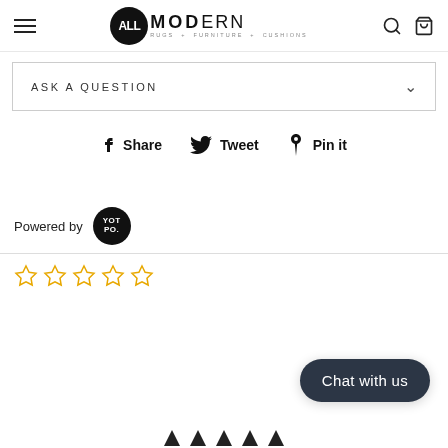ALLMODERN RUGS + FURNITURE + CUSHIONS
ASK A QUESTION
Share  Tweet  Pin it
Powered by YOTPO
[Figure (other): Five empty star rating icons in gold/yellow outline]
Chat with us